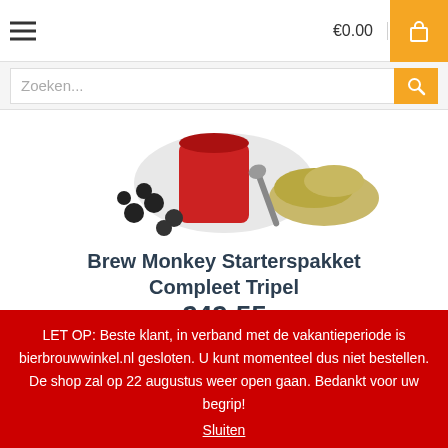€0.00
Zoeken...
[Figure (photo): Product photo of Brew Monkey Starterspakket Compleet Tripel — brewing ingredients including hops and grain]
Brew Monkey Starterspakket Compleet Tripel
€49.55
- 1 + Bestel nu
NIEUW
LET OP: Beste klant, in verband met de vakantieperiode is bierbrouwwinkel.nl gesloten. U kunt momenteel dus niet bestellen. De shop zal op 22 augustus weer open gaan. Bedankt voor uw begrip!
Sluiten